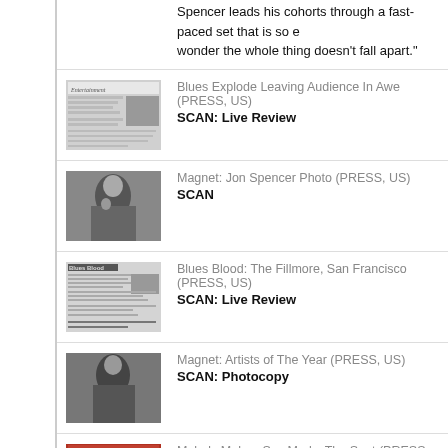Spencer leads his cohorts through a fast-paced set that is so e… wonder the whole thing doesn't fall apart."
[Figure (photo): Thumbnail of Entertainment magazine scan - newspaper clipping with small photo]
Blues Explode Leaving Audience In Awe (PRESS, US)
SCAN: Live Review
[Figure (photo): Thumbnail of Magnet magazine - black and white portrait photo of Jon Spencer]
Magnet: Jon Spencer Photo (PRESS, US)
SCAN
[Figure (photo): Thumbnail of Blues Blood newspaper clipping - The Fillmore, San Francisco]
Blues Blood: The Fillmore, San Francisco (PRESS, US)
SCAN: Live Review
[Figure (photo): Thumbnail of Magnet magazine - black and white portrait photo for Artists of The Year]
Magnet: Artists of The Year (PRESS, US)
SCAN: Photocopy
[Figure (photo): Thumbnail of Melody Maker magazine - color cover with band photo]
Melody Maker: Sex Marks The Spot (PRESS, UK)
TEXT: "...an acre of New York attitude bordering on the bad-… fondness for tiny fitted shirts and the most outrageously libidi… f***ed-up take on the blues ever to have erupted out of two b… and a drum kit."